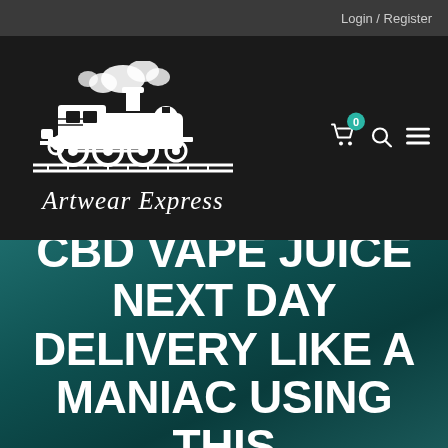Login / Register
[Figure (logo): Artwear Express logo featuring a vintage steam locomotive with a cross on front, white illustration on dark background, with italic serif brand name 'Artwear Express' below]
CBD VAPE JUICE NEXT DAY DELIVERY LIKE A MANIAC USING THIS